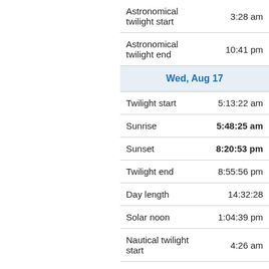| Label | Value |
| --- | --- |
| Astronomical twilight start | 3:28 am |
| Astronomical twilight end | 10:41 pm |
| Wed, Aug 17 |  |
| Twilight start | 5:13:22 am |
| Sunrise | 5:48:25 am |
| Sunset | 8:20:53 pm |
| Twilight end | 8:55:56 pm |
| Day length | 14:32:28 |
| Solar noon | 1:04:39 pm |
| Nautical twilight start | 4:26 am |